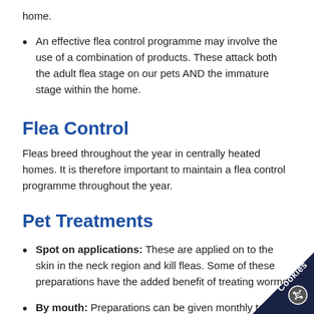home.
An effective flea control programme may involve the use of a combination of products. These attack both the adult flea stage on our pets AND the immature stage within the home.
Flea Control
Fleas breed throughout the year in centrally heated homes. It is therefore important to maintain a flea control programme throughout the year.
Pet Treatments
Spot on applications: These are applied on to the skin in the neck region and kill fleas. Some of these preparations have the added benefit of treating worms.
By mouth: Preparations can be given monthly to s…